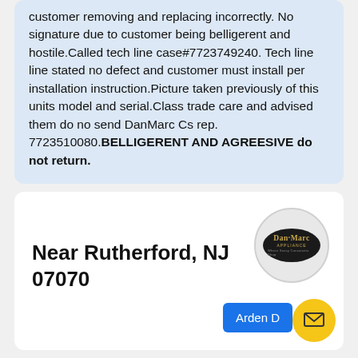customer removing and replacing incorrectly. No signature due to customer being belligerent and hostile.Called tech line case#7723749240. Tech line line stated no defect and customer must install per installation instruction.Picture taken previously of this units model and serial.Class trade care and advised them do no send DanMarc Cs rep. 7723510080.BELLIGERENT AND AGREESIVE do not return.
Near Rutherford, NJ 07070
[Figure (logo): Dan-Marc Appliance logo — oval dark background with gold serif text]
Arden D